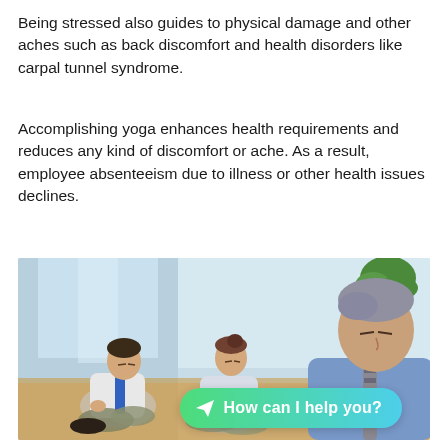Being stressed also guides to physical damage and other aches such as back discomfort and health disorders like carpal tunnel syndrome.
Accomplishing yoga enhances health requirements and reduces any kind of discomfort or ache. As a result, employee absenteeism due to illness or other health issues declines.
[Figure (photo): Three office workers (two men and a woman) sitting cross-legged on a wooden floor in a bright office, meditating with eyes closed in yoga poses. A plant is visible in the background.]